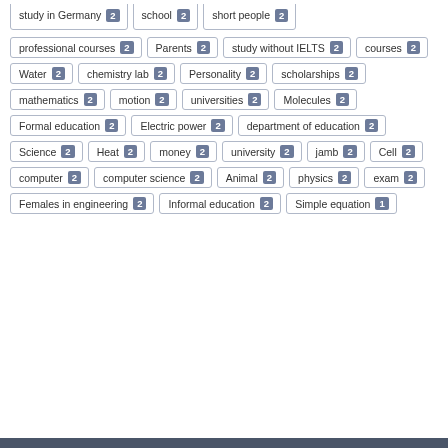study in Germany 2
school 2
short people 2
professional courses 2
Parents 2
study without IELTS 2
courses 2
Water 2
chemistry lab 2
Personality 2
scholarships 2
mathematics 2
motion 2
universities 2
Molecules 2
Formal education 2
Electric power 2
department of education 2
Science 2
Heat 2
money 2
university 2
jamb 2
Cell 2
computer 2
computer science 2
Animal 2
physics 2
exam 2
Females in engineering 2
Informal education 2
Simple equation 1